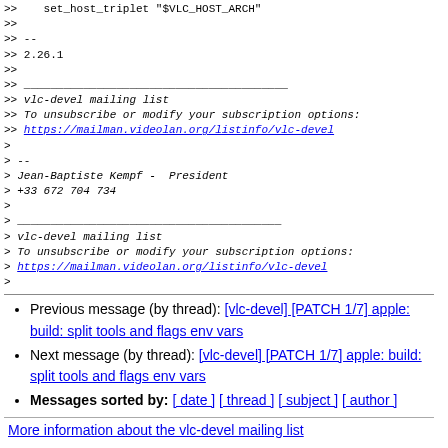>>    set_host_triplet "$VLC_HOST_ARCH"
>>
>> --
>> 2.26.1
>>
>>
>> vlc-devel mailing list
>> To unsubscribe or modify your subscription options:
>> https://mailman.videolan.org/listinfo/vlc-devel
>
> --
> Jean-Baptiste Kempf -  President
> +33 672 704 734
>
> vlc-devel mailing list
> To unsubscribe or modify your subscription options:
> https://mailman.videolan.org/listinfo/vlc-devel
>
Previous message (by thread): [vlc-devel] [PATCH 1/7] apple: build: split tools and flags env vars
Next message (by thread): [vlc-devel] [PATCH 1/7] apple: build: split tools and flags env vars
Messages sorted by: [ date ] [ thread ] [ subject ] [ author ]
More information about the vlc-devel mailing list